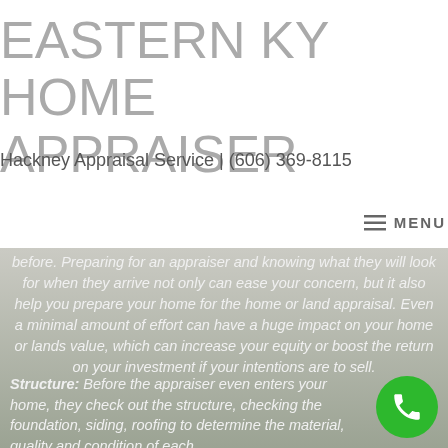EASTERN KY HOME APPRAISER
Hackney Appraisal Service | (606) 369-8115
☰ MENU
before. Preparing for an appraiser and knowing what they will look for when they arrive not only can ease your concern, but it also help you prepare your home for the home or land appraisal. Even a minimal amount of effort can have a huge impact on your home or lands value, which can increase your equity or boost the return on your investment if your intentions are to sell.
Structure: Before the appraiser even enters your home, they check out the structure, checking the foundation, siding, roofing to determine the material, quality and condition of each